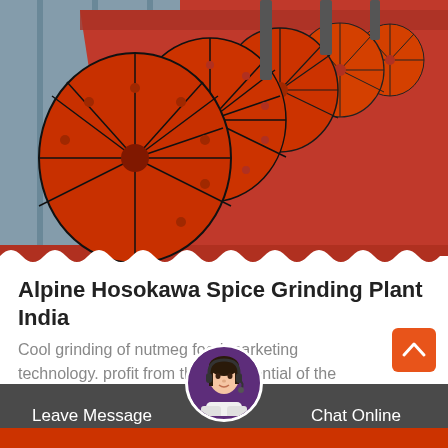[Figure (photo): Industrial orange/red grinding wheels or discs arranged in a row inside a metal casing, likely a spice grinding machine by Alpine Hosokawa]
Alpine Hosokawa Spice Grinding Plant India
Cool grinding of nutmeg food marketing technology. profit from the full potential of the hosokawa alpine food technology. spice grinding is a process with…
Leave Message  Chat Online